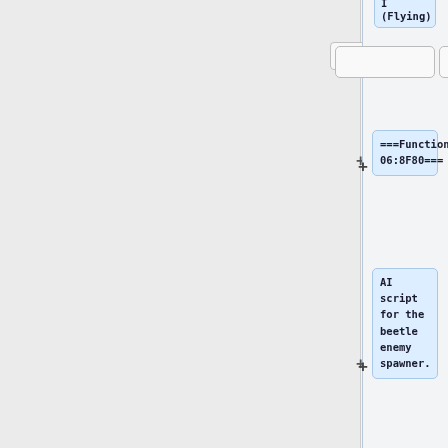I (Flying)
===Function 06:8F80===
AI script for the beetle enemy spawner.
If a beetle enemy is not currently on screen, spawn one relative to the player's position in a random diagonal direction.